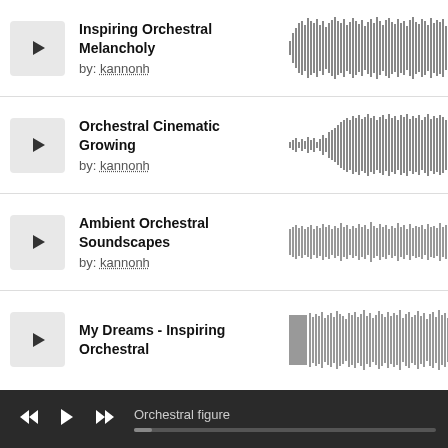Inspiring Orchestral Melancholy by: kannonh
[Figure (other): Audio waveform for Inspiring Orchestral Melancholy]
Orchestral Cinematic Growing by: kannonh
[Figure (other): Audio waveform for Orchestral Cinematic Growing]
Ambient Orchestral Soundscapes by: kannonh
[Figure (other): Audio waveform for Ambient Orchestral Soundscapes]
My Dreams - Inspiring Orchestral
[Figure (other): Audio waveform for My Dreams - Inspiring Orchestral]
Orchestral figure